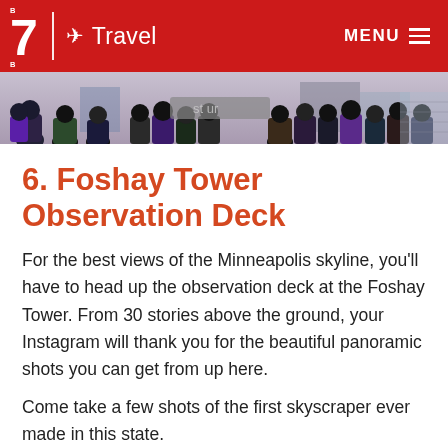7 Travel MENU
[Figure (photo): Crowd of people gathered outdoors, partially visible signage in background]
6. Foshay Tower Observation Deck
For the best views of the Minneapolis skyline, you'll have to head up the observation deck at the Foshay Tower. From 30 stories above the ground, your Instagram will thank you for the beautiful panoramic shots you can get from up here.
Come take a few shots of the first skyscraper ever made in this state.